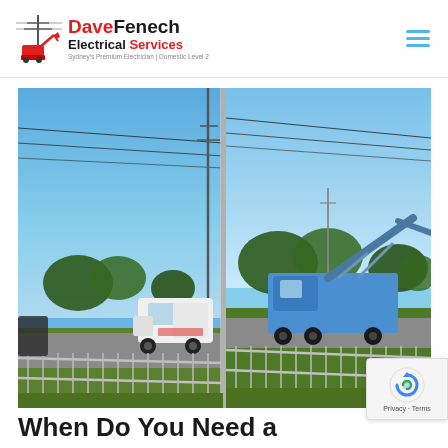Dave Fenech Electrical Services — Sydney's Premium Electrician | Domestic Level 2
[Figure (photo): Outdoor photo showing a white truck and a blue boom lift/crane vehicle parked on a suburban street with power lines overhead, green trees, grass lawn and a metal fence in the foreground, split into two joined panels under blue sky.]
When Do You Need a Level 2 Electrician?